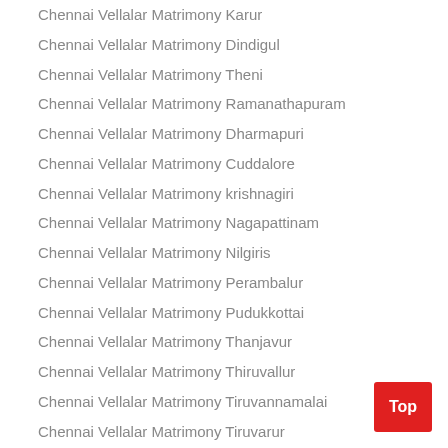Chennai Vellalar Matrimony Karur
Chennai Vellalar Matrimony Dindigul
Chennai Vellalar Matrimony Theni
Chennai Vellalar Matrimony Ramanathapuram
Chennai Vellalar Matrimony Dharmapuri
Chennai Vellalar Matrimony Cuddalore
Chennai Vellalar Matrimony krishnagiri
Chennai Vellalar Matrimony Nagapattinam
Chennai Vellalar Matrimony Nilgiris
Chennai Vellalar Matrimony Perambalur
Chennai Vellalar Matrimony Pudukkottai
Chennai Vellalar Matrimony Thanjavur
Chennai Vellalar Matrimony Thiruvallur
Chennai Vellalar Matrimony Tiruvannamalai
Chennai Vellalar Matrimony Tiruvarur
Chennai Vellalar Matrimony Pondicherry
Chennai Vellalar Brides and Grooms By Jobs
Chennai Vellalar Accounts / Finance Brides & Grooms
Chennai Vellalar Auditor Brides & Grooms